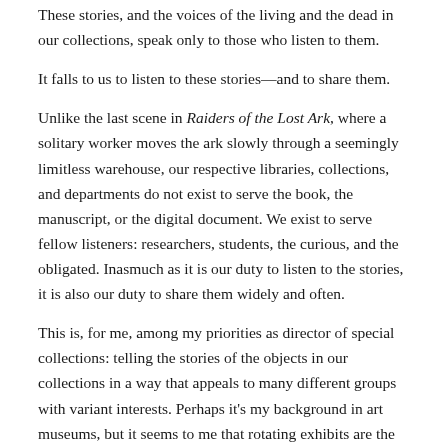These stories, and the voices of the living and the dead in our collections, speak only to those who listen to them.
It falls to us to listen to these stories—and to share them.
Unlike the last scene in Raiders of the Lost Ark, where a solitary worker moves the ark slowly through a seemingly limitless warehouse, our respective libraries, collections, and departments do not exist to serve the book, the manuscript, or the digital document. We exist to serve fellow listeners: researchers, students, the curious, and the obligated. Inasmuch as it is our duty to listen to the stories, it is also our duty to share them widely and often.
This is, for me, among my priorities as director of special collections: telling the stories of the objects in our collections in a way that appeals to many different groups with variant interests. Perhaps it's my background in art museums, but it seems to me that rotating exhibits are the best way to introduce Southwestern's collections to people is to tell a story about an object in a way that appeals to these variant interests. Through these, guests can see the object for themselves but also have some guidance as to its interpretation and significance. Indeed, I can